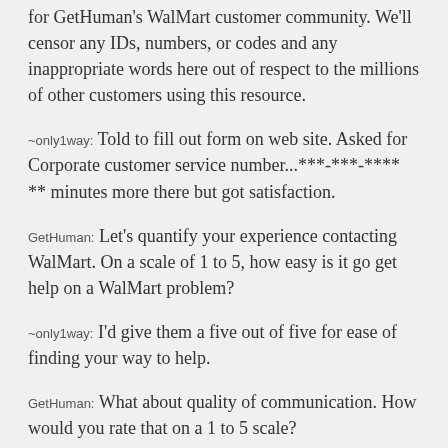for GetHuman's WalMart customer community. We'll censor any IDs, numbers, or codes and any inappropriate words here out of respect to the millions of other customers using this resource.
~only1way: Told to fill out form on web site. Asked for Corporate customer service number...***-***-**** ** minutes more there but got satisfaction.
GetHuman: Let's quantify your experience contacting WalMart. On a scale of 1 to 5, how easy is it go get help on a WalMart problem?
~only1way: I'd give them a five out of five for ease of finding your way to help.
GetHuman: What about quality of communication. How would you rate that on a 1 to 5 scale?
~only1way: I'd give them a four out of five on communication.